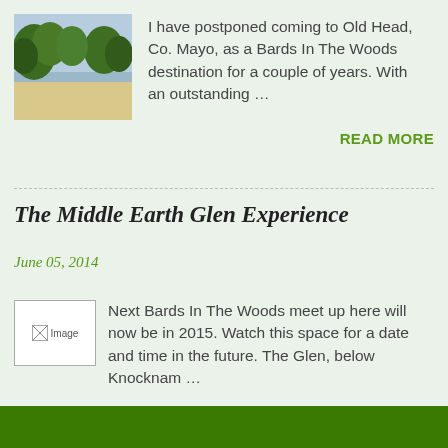[Figure (photo): Outdoor photo showing a sandy beach with trees and foliage in the background under a bright sky]
I have postponed coming to Old Head, Co. Mayo, as a Bards In The Woods destination for a couple of years. With an outstanding …
READ MORE
The Middle Earth Glen Experience
June 05, 2014
[Figure (photo): Broken image placeholder labeled Image]
Next Bards In The Woods meet up here will now be in 2015. Watch this space for a date and time in the future. The Glen, below Knocknam …
READ MORE